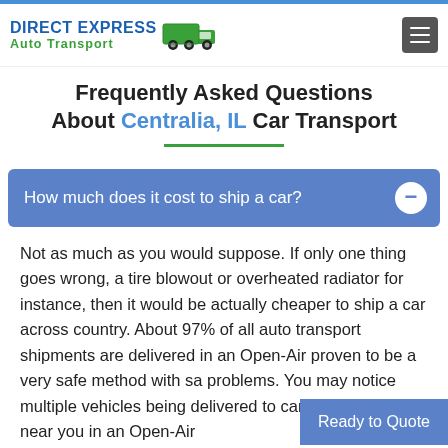[Figure (logo): Direct Express Auto Transport logo with truck icon]
Frequently Asked Questions About Centralia, IL Car Transport
How much does it cost to ship a car?
Not as much as you would suppose. If only one thing goes wrong, a tire blowout or overheated radiator for instance, then it would be actually cheaper to ship a car across country. About 97% of all auto transport shipments are delivered in an Open-Air proven to be a very safe method with sa problems. You may notice multiple vehicles being delivered to car dealerships near you in an Open-Air